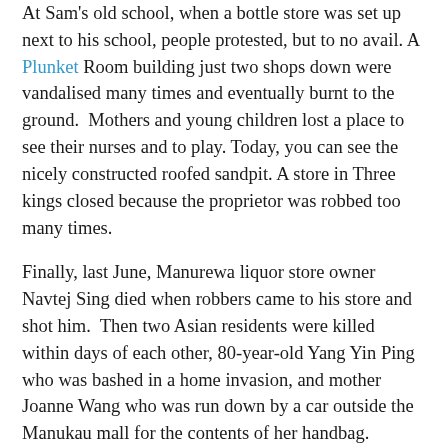At Sam's old school, when a bottle store was set up next to his school, people protested, but to no avail. A Plunket Room building just two shops down were vandalised many times and eventually burnt to the ground.  Mothers and young children lost a place to see their nurses and to play. Today, you can see the nicely constructed roofed sandpit. A store in Three kings closed because the proprietor was robbed too many times.
Finally, last June, Manurewa liquor store owner Navtej Sing died when robbers came to his store and shot him.  Then two Asian residents were killed within days of each other, 80-year-old Yang Yin Ping who was bashed in a home invasion, and mother Joanne Wang who was run down by a car outside the Manukau mall for the contents of her handbag.
Police blame the young gangs.  There were more bottle shops in South Auckland where crime is rampant. Liquor outlets in the city have roughly trebled since the Sale of Liquor Act made it easier to get licences in 1989, from 186 licences in 1991 to 510 last June. On a per capita basis they have doubled from 0.8 to 1.6 for every 1000 people.